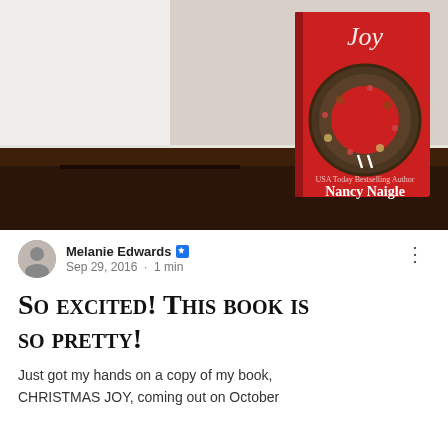[Figure (photo): Photo of a red Christmas book titled 'Joy' by Nancy Naigle, featuring a holiday wreath on the cover, sitting on a dark wooden table against a light wall background.]
Melanie Edwards · Sep 29, 2016 · 1 min
So excited! This book is so pretty!
Just got my hands on a copy of my book, CHRISTMAS JOY, coming out on October